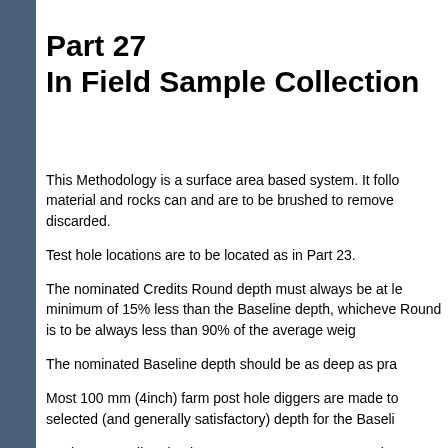Part 27
In Field Sample Collection
This Methodology is a surface area based system. It follo material and rocks can and are to be brushed to remove discarded.
Test hole locations are to be located as in Part 23.
The nominated Credits Round depth must always be at le minimum of 15% less than the Baseline depth, whicheve Round is to be always less than 90% of the average weig
The nominated Baseline depth should be as deep as pra
Most 100 mm (4inch) farm post hole diggers are made to selected (and generally satisfactory) depth for the Baseli
Setting a Baseline depth nearer to one metre or more is o